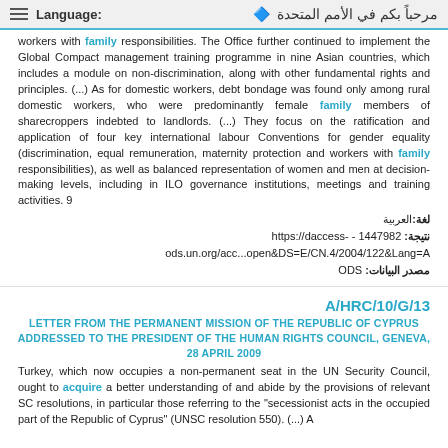Language: | مرحباً بكم في الأمم المتحدة
workers with family responsibilities. The Office further continued to implement the Global Compact management training programme in nine Asian countries, which includes a module on non-discrimination, along with other fundamental rights and principles. (...) As for domestic workers, debt bondage was found only among rural domestic workers, who were predominantly female family members of sharecroppers indebted to landlords. (...) They focus on the ratification and application of four key international labour Conventions for gender equality (discrimination, equal remuneration, maternity protection and workers with family responsibilities), as well as balanced representation of women and men at decision-making levels, including in ILO governance institutions, meetings and training activities. 9
لغة:العربية
نتيجة: 1447982 - https://daccess-ods.un.org/acc...open&DS=E/CN.4/2004/122&Lang=A
مصدر البيانات: ODS
A/HRC/10/G/13
LETTER FROM THE PERMANENT MISSION OF THE REPUBLIC OF CYPRUS ADDRESSED TO THE PRESIDENT OF THE HUMAN RIGHTS COUNCIL, GENEVA, 28 APRIL 2009
Turkey, which now occupies a non-permanent seat in the UN Security Council, ought to acquire a better understanding of and abide by the provisions of relevant SC resolutions, in particular those referring to the "secessionist acts in the occupied part of the Republic of Cyprus" (UNSC resolution 550). (...) A